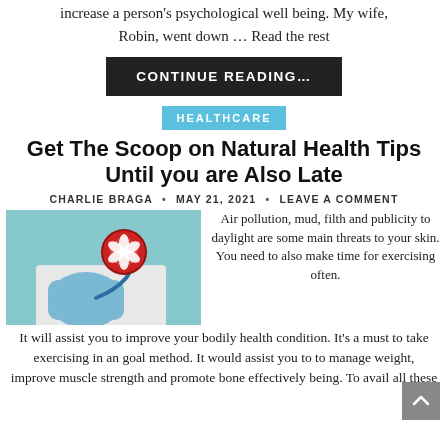increase a person's psychological well being. My wife, Robin, went down … Read the rest
CONTINUE READING…
HEALTHCARE
Get The Scoop on Natural Health Tips Until you are Also Late
CHARLIE BRAGA • MAY 21, 2021 • LEAVE A COMMENT
[Figure (photo): A gloved hand holding a stethoscope with a red and white floral emblem on the round part, against a light blue/teal background]
Air pollution, mud, filth and publicity to daylight are some main threats to your skin. You need to also make time for exercising often.
It will assist you to improve your bodily health condition. It's a must to take exercising in an goal method. It would assist you to to manage weight, improve muscle strength and promote bone effectively being. To avail all these